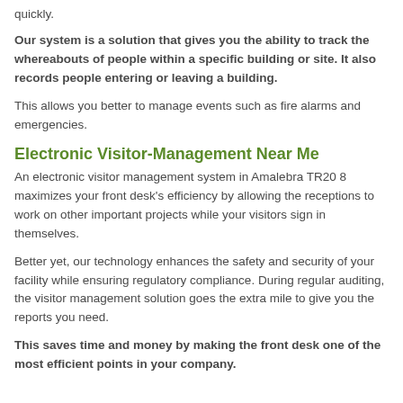quickly.
Our system is a solution that gives you the ability to track the whereabouts of people within a specific building or site. It also records people entering or leaving a building.
This allows you better to manage events such as fire alarms and emergencies.
Electronic Visitor-Management Near Me
An electronic visitor management system in Amalebra TR20 8 maximizes your front desk's efficiency by allowing the receptions to work on other important projects while your visitors sign in themselves.
Better yet, our technology enhances the safety and security of your facility while ensuring regulatory compliance. During regular auditing, the visitor management solution goes the extra mile to give you the reports you need.
This saves time and money by making the front desk one of the most efficient points in your company.